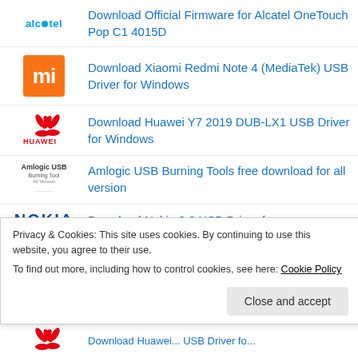Download Official Firmware for Alcatel OneTouch Pop C1 4015D
Download Xiaomi Redmi Note 4 (MediaTek) USB Driver for Windows
Download Huawei Y7 2019 DUB-LX1 USB Driver for Windows
Amlogic USB Burning Tools free download for all version
Download Nokia 2.3 USB Driver for
Privacy & Cookies: This site uses cookies. By continuing to use this website, you agree to their use.
To find out more, including how to control cookies, see here: Cookie Policy
Download Huawei...